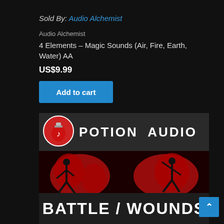Sold By: Audio Alchemist
Audio Alchemist
4 Elements – Magic Sounds (Air, Fire, Earth, Water) AA
US$9.99
Add to cart
[Figure (screenshot): Potion Audio product image showing 'POTION AUDIO' branding with potion bottle logo, action silhouette figures on red backgrounds, and 'BATTLE / WOUNDS' text at the bottom]